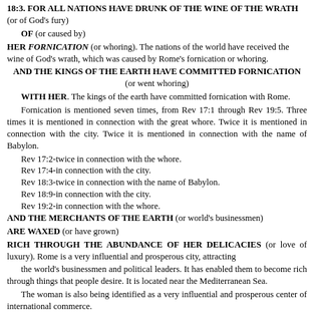18:3. FOR ALL NATIONS HAVE DRUNK OF THE WINE OF THE WRATH (or of God's fury)
OF (or caused by)
HER FORNICATION (or whoring). The nations of the world have received the wine of God's wrath, which was caused by Rome's fornication or whoring.
AND THE KINGS OF THE EARTH HAVE COMMITTED FORNICATION (or went whoring)
WITH HER. The kings of the earth have committed fornication with Rome.
Fornication is mentioned seven times, from Rev 17:1 through Rev 19:5. Three times it is mentioned in connection with the great whore. Twice it is mentioned in connection with the city. Twice it is mentioned in connection with the name of Babylon.
Rev 17:2-twice in connection with the whore.
Rev 17:4-in connection with the city.
Rev 18:3-twice in connection with the name of Babylon.
Rev 18:9-in connection with the city.
Rev 19:2-in connection with the whore.
AND THE MERCHANTS OF THE EARTH (or world's businessmen)
ARE WAXED (or have grown)
RICH THROUGH THE ABUNDANCE OF HER DELICACIES (or love of luxury). Rome is a very influential and prosperous city, attracting the world's businessmen and political leaders. It has enabled them to become rich through things that people desire. It is located near the Mediterranean Sea.
The woman is also being identified as a very influential and prosperous center of international commerce.
18:4. AND I HEARD ANOTHER VOICE FROM HEAVEN, SAYING. Except for the interruption in v.21, this "another voice" speaks from verses 4-24.